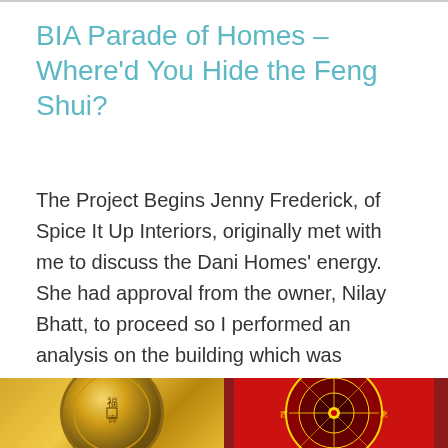BIA Parade of Homes – Where'd You Hide the Feng Shui?
The Project Begins Jenny Frederick, of Spice It Up Interiors, originally met with me to discuss the Dani Homes' energy. She had approval from the owner, Nilay Bhatt, to proceed so I performed an analysis on the building which was already under roof. A brief explanation of how classic (also called traditional) Feng Shui works [...]
[Figure (photo): Two images side by side at bottom: left shows a gold coin, right shows a red and gold feng shui compass/bagua]